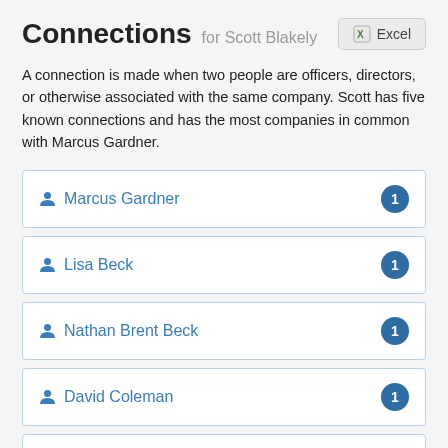Connections for Scott Blakely
A connection is made when two people are officers, directors, or otherwise associated with the same company. Scott has five known connections and has the most companies in common with Marcus Gardner.
Marcus Gardner — 1
Lisa Beck — 1
Nathan Brent Beck — 1
David Coleman — 1
Terri Coleman — 1